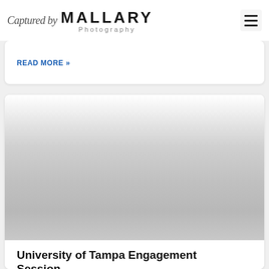Captured by Mallary Photography
READ MORE »
[Figure (photo): A blurred/grey placeholder image for a photography blog post card]
University of Tampa Engagement Session